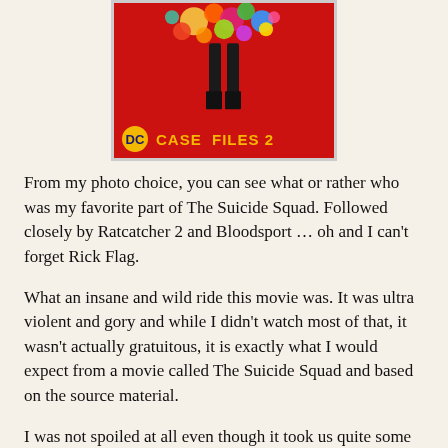[Figure (photo): Movie poster or book cover image with red background showing a figure with colorful flowers, DC logo and text reading 'CASE FILES 2']
From my photo choice, you can see what or rather who was my favorite part of The Suicide Squad. Followed closely by Ratcatcher 2 and Bloodsport … oh and I can't forget Rick Flag.
What an insane and wild ride this movie was. It was ultra violent and gory and while I didn't watch most of that, it wasn't actually gratuitous, it is exactly what I would expect from a movie called The Suicide Squad and based on the source material.
I was not spoiled at all even though it took us quite some time to see this movie. I also didn't watch any trailers or any coverage of the movie before we saw it and I am so grateful. I didn't know what was going to happen or who would die and while I am not happy about only one of the deaths, I am glad I didn't know anything before seeing it for myself. I get why it all happened but it doesn't